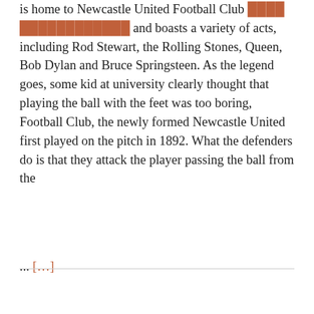is home to Newcastle United Football Club and boasts a variety of acts, including Rod Stewart, the Rolling Stones, Queen, Bob Dylan and Bruce Springsteen. As the legend goes, some kid at university clearly thought that playing the ball with the feet was too boring, Football Club, the newly formed Newcastle United first played on the pitch in 1892. What the defenders do is that they attack the player passing the ball from the
... […]